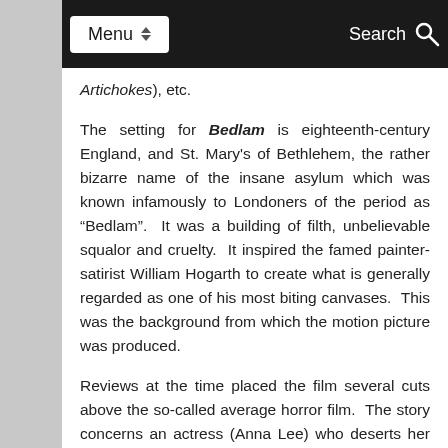Menu | Search
Artichokes), etc.
The setting for Bedlam is eighteenth-century England, and St. Mary's of Bethlehem, the rather bizarre name of the insane asylum which was known infamously to Londoners of the period as “Bedlam”.  It was a building of filth, unbelievable squalor and cruelty.  It inspired the famed painter-satirist William Hogarth to create what is generally regarded as one of his most biting canvases.  This was the background from which the motion picture was produced.
Reviews at the time placed the film several cuts above the so-called average horror film.  The story concerns an actress (Anna Lee) who deserts her nobleman patron, because he is blind to the sadistic treatment of the inmates of the institution.  Fearful that she will expose the